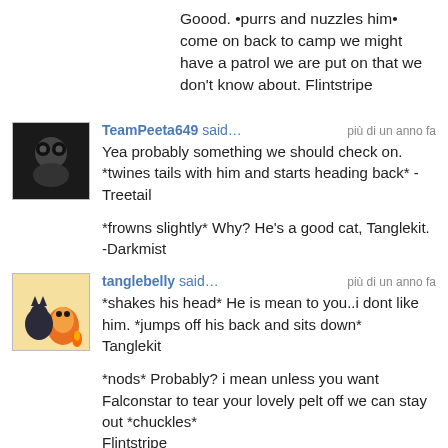Goood. •purrs and nuzzles him• come on back to camp we might have a patrol we are put on that we don't know about. Flintstripe
TeamPeeta649 said…  più di un anno fa
Yea probably something we should check on. *twines tails with him and starts heading back* -Treetail

*frowns slightly* Why? He's a good cat, Tanglekit. -Darkmist
tanglebelly said…  più di un anno fa
*shakes his head* He is mean to you..i dont like him. *jumps off his back and sits down*
Tanglekit

*nods* Probably? i mean unless you want Falconstar to tear your lovely pelt off we can stay out *chuckles*
Flintstripe